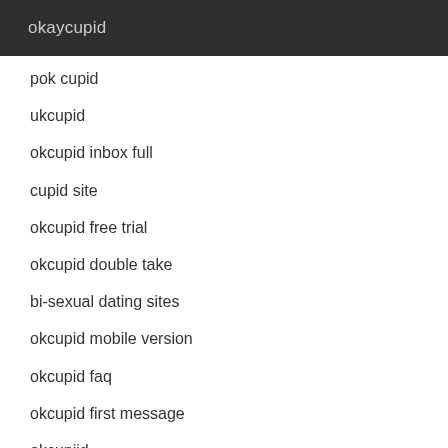okaycupid
pok cupid
ukcupid
okcupid inbox full
cupid site
okcupid free trial
okcupid double take
bi-sexual dating sites
okcupid mobile version
okcupid faq
okcupid first message
okcupiid